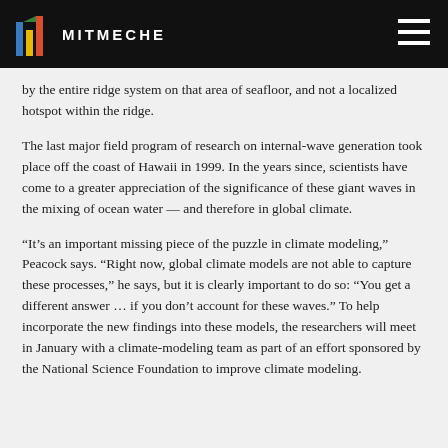MITMECHE
by the entire ridge system on that area of seafloor, and not a localized hotspot within the ridge.
The last major field program of research on internal-wave generation took place off the coast of Hawaii in 1999. In the years since, scientists have come to a greater appreciation of the significance of these giant waves in the mixing of ocean water — and therefore in global climate.
“It’s an important missing piece of the puzzle in climate modeling,” Peacock says. “Right now, global climate models are not able to capture these processes,” he says, but it is clearly important to do so: “You get a different answer … if you don’t account for these waves.” To help incorporate the new findings into these models, the researchers will meet in January with a climate-modeling team as part of an effort sponsored by the National Science Foundation to improve climate modeling.